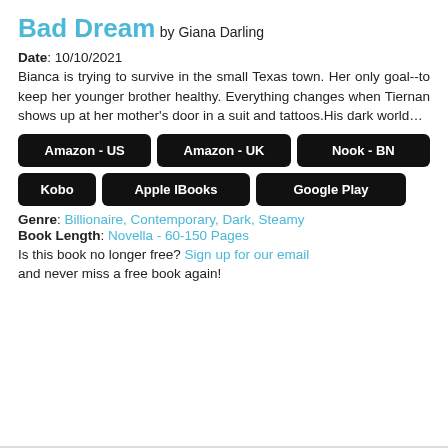Bad Dream
by Giana Darling
Date: 10/10/2021
Bianca is trying to survive in the small Texas town. Her only goal--to keep her younger brother healthy. Everything changes when Tiernan shows up at her mother's door in a suit and tattoos.His dark world…
Amazon - US
Amazon - UK
Nook - BN
Kobo
Apple IBooks
Google Play
Genre: Billionaire, Contemporary, Dark, Steamy
Book Length: Novella - 60-150 Pages
Is this book no longer free? Sign up for our email and never miss a free book again!